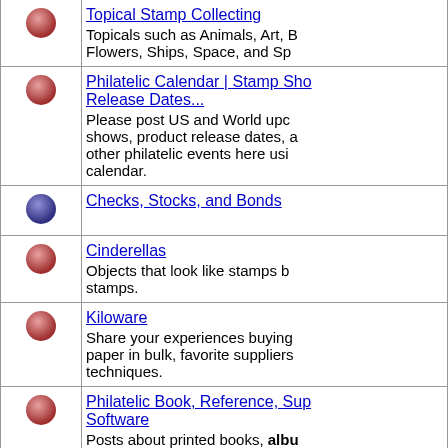Topical Stamp Collecting — Topicals such as Animals, Art, Flowers, Ships, Space, and Sp...
Philatelic Calendar | Stamp Shows, Release Dates... — Please post US and World upcoming shows, product release dates, and other philatelic events here using the calendar.
Checks, Stocks, and Bonds
Cinderellas — Objects that look like stamps but are not stamps.
Kiloware — Share your experiences buying paper in bulk, favorite suppliers, techniques.
Philatelic Book, Reference, Supplies & Software — Posts about printed books, albums, supplies, and resources; also including topics on blogs, websites, and...